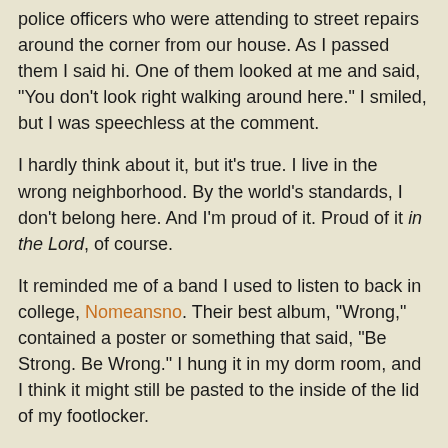police officers who were attending to street repairs around the corner from our house. As I passed them I said hi. One of them looked at me and said, "You don't look right walking around here." I smiled, but I was speechless at the comment.
I hardly think about it, but it's true. I live in the wrong neighborhood. By the world's standards, I don't belong here. And I'm proud of it. Proud of it in the Lord, of course.
It reminded me of a band I used to listen to back in college, Nomeansno. Their best album, "Wrong," contained a poster or something that said, "Be Strong. Be Wrong." I hung it in my dorm room, and I think it might still be pasted to the inside of the lid of my footlocker.
Sometimes that's just the attitude that the disciple of the Lord needs. To have the strength and courage to think and do the wrong thing in the eyes of the selfish and glittering ideologies of this world.
Brother Charles at 7:59 AM   3 comments: